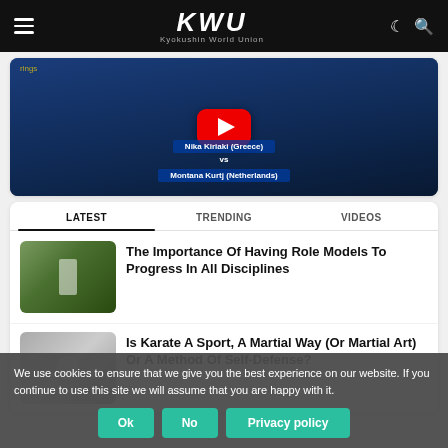KWU Kyokushin World Union
[Figure (screenshot): YouTube video thumbnail showing a Kyokushin karate match with players Nika Kiriku (Greece) vs Montana Kurtj (Netherlands), with a red YouTube play button overlay]
LATEST   TRENDING   VIDEOS
The Importance Of Having Role Models To Progress In All Disciplines
[Figure (photo): Thumbnail of karate practitioner in forest/outdoor setting wearing white gi]
Is Karate A Sport, A Martial Way (Or Martial Art) Or A Method Of Self-Defense?
[Figure (photo): Thumbnail related to karate article]
We use cookies to ensure that we give you the best experience on our website. If you continue to use this site we will assume that you are happy with it.